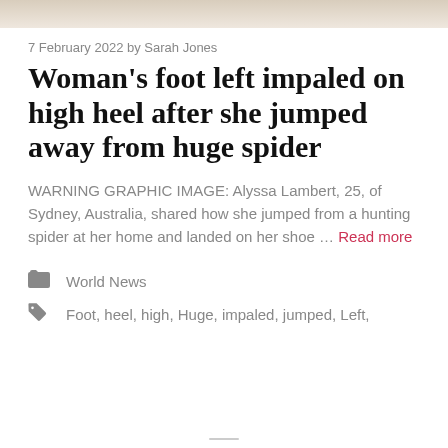[Figure (photo): Top portion of a photo, cropped — shows muted warm-toned image]
7 February 2022 by Sarah Jones
Woman's foot left impaled on high heel after she jumped away from huge spider
WARNING GRAPHIC IMAGE: Alyssa Lambert, 25, of Sydney, Australia, shared how she jumped from a hunting spider at her home and landed on her shoe … Read more
World News
Foot, heel, high, Huge, impaled, jumped, Left,